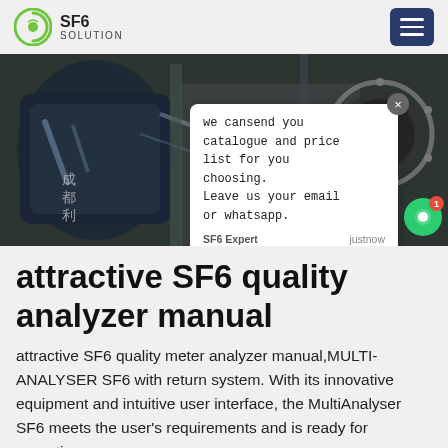SF6 SOLUTION
[Figure (photo): Industrial SF6 gas cylinders and electrical equipment in a power facility, with an overlaid chat popup reading: 'we cansend you catalogue and price list for you choosing. Leave us your email or whatsapp.']
attractive SF6 quality analyzer manual
attractive SF6 quality meter analyzer manual,MULTI-ANALYSER SF6 with return system. With its innovative equipment and intuitive user interface, the MultiAnalyser SF6 meets the user's requirements and is ready for operation